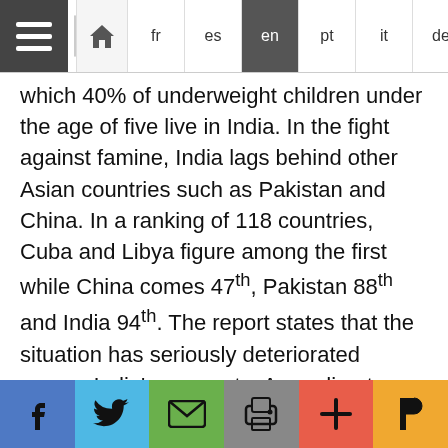Navigation bar with hamburger menu, search box, home icon, and language tabs: fr, es, en (active), pt, it, de, عربي
which 40% of underweight children under the age of five live in India. In the fight against famine, India lags behind other Asian countries such as Pakistan and China. In a ranking of 118 countries, Cuba and Libya figure among the first while China comes 47th, Pakistan 88th and India 94th. The report states that the situation has seriously deteriorated among India's peasants. According to other sources, between 1996 and 2003 more than 100,000 small farmers committed suicide, most of them for reasons of over-indebtedness. This translates as one suicide every 45 minutes. According to the Indian newspaper DNA in its 17 September 2007 issue reporting on a government study, 46% of Indian children are underweight. In Mumbai, a city of 14 million inhabitants, where trading on the stock exchange reached unprecedented
Social share bar: Facebook, Twitter, Email, Print, Plus, Pocket